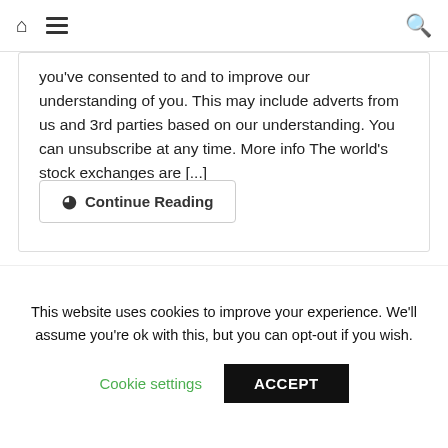Navigation bar with home icon, menu icon, and search icon
you've consented to and to improve our understanding of you. This may include adverts from us and 3rd parties based on our understanding. You can unsubscribe at any time. More info The world's stock exchanges are [...]
⊙  Continue Reading
[Figure (photo): Banner image showing book spines including pink/red books and what appears to be a person looking up, and orange books on the right with 'Worst Case' visible]
This website uses cookies to improve your experience. We'll assume you're ok with this, but you can opt-out if you wish.
Cookie settings    ACCEPT